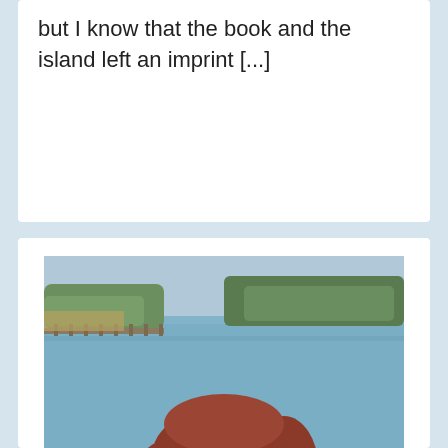but I know that the book and the island left an imprint [...]
[Figure (photo): A smiling woman with reddish-brown hair, wearing earrings, photographed outdoors near a body of water with a tree-lined shore in the background.]